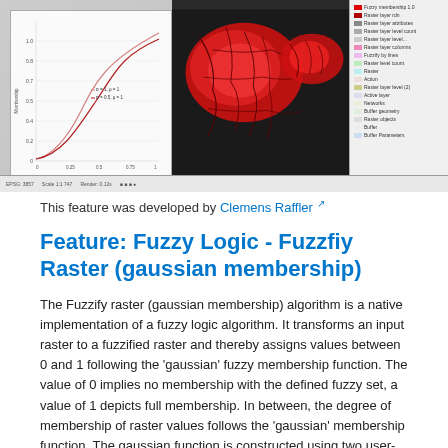[Figure (screenshot): Screenshot of a GIS application showing a sigmoid/gaussian curve chart on the left and a raster map with red fuzzy membership values on the right, with a legend panel.]
This feature was developed by Clemens Raffler ↗
Feature: Fuzzy Logic - Fuzzfiy Raster (gaussian membership)
The Fuzzify raster (gaussian membership) algorithm is a native implementation of a fuzzy logic algorithm. It transforms an input raster to a fuzzified raster and thereby assigns values between 0 and 1 following the 'gaussian' fuzzy membership function. The value of 0 implies no membership with the defined fuzzy set, a value of 1 depicts full membership. In between, the degree of membership of raster values follows the 'gaussian' membership function. The gaussian function is constructed using two user-defined input values which set the midpoint of the gaussian function (midpoint, results to 1) and a predefined function